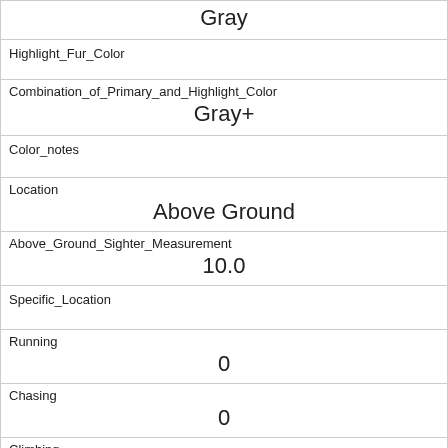| Gray |
| Highlight_Fur_Color |  |
| Combination_of_Primary_and_Highlight_Color | Gray+ |
| Color_notes |  |
| Location | Above Ground |
| Above_Ground_Sighter_Measurement | 10.0 |
| Specific_Location |  |
| Running | 0 |
| Chasing | 0 |
| Climbing | 1 |
| Eating | 0 |